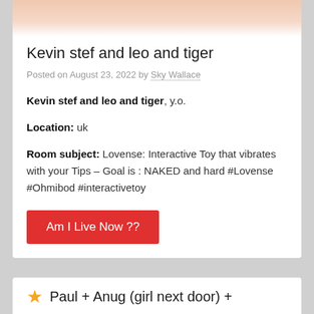[Figure (photo): Partial photo cropped at top of card, showing skin/body]
Kevin stef and leo and tiger
Posted on August 23, 2022 by Sky Wallace
Kevin stef and leo and tiger, y.o.
Location: uk
Room subject: Lovense: Interactive Toy that vibrates with your Tips – Goal is : NAKED and hard #Lovense #Ohmibod #interactivetoy
Am I Live Now ??
Paul + Anug (girl next door) +